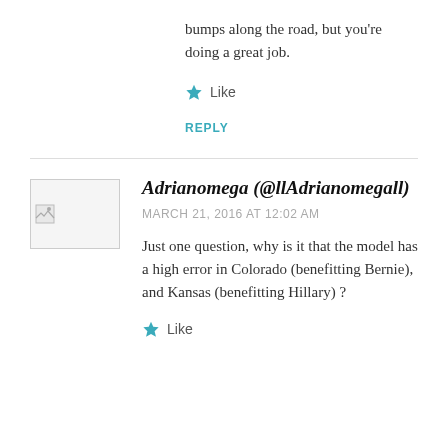bumps along the road, but you're doing a great job.
Like
REPLY
[Figure (photo): Broken image placeholder for user avatar]
Adrianomega (@llAdrianomegall)
MARCH 21, 2016 AT 12:02 AM
Just one question, why is it that the model has a high error in Colorado (benefitting Bernie), and Kansas (benefitting Hillary) ?
Like